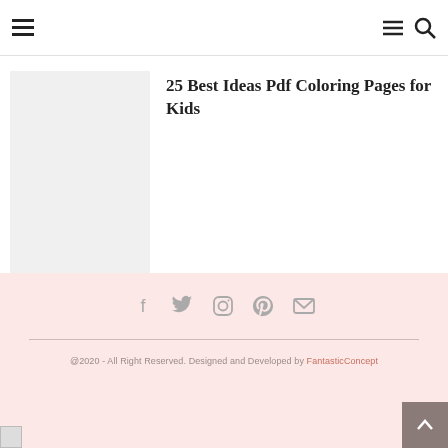[hamburger menu icon] [menu icon] [search icon]
[Figure (photo): Light gray placeholder thumbnail image for article]
25 Best Ideas Pdf Coloring Pages for Kids
Social icons: Facebook, Twitter, Instagram, Pinterest, Email | @2020 - All Right Reserved. Designed and Developed by FantasticConcept